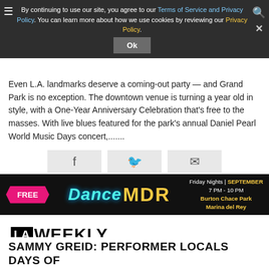By continuing to use our site, you agree to our Terms of Service and Privacy Policy. You can learn more about how we use cookies by reviewing our Privacy Policy.
Even L.A. landmarks deserve a coming-out party — and Grand Park is no exception. The downtown venue is turning a year old in style, with a One-Year Anniversary Celebration that's free to the masses. With live blues featured for the park's annual Daniel Pearl World Music Days concert,.......
[Figure (screenshot): Social share buttons: Facebook, Twitter, Email]
[Figure (infographic): Dance MDR advertisement banner: FREE, Dance MDR, Friday Nights | SEPTEMBER 7 PM - 10 PM, Burton Chace Park, Marina del Rey]
[Figure (logo): LA Weekly logo]
SAMMY GREID: PERFORMER LOCALS DAYS OF